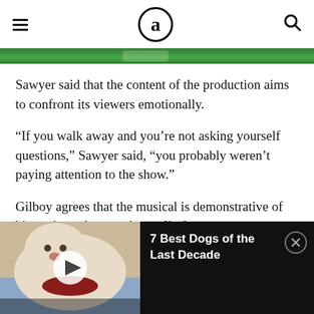a
[Figure (photo): Green banner strip, partial view of decorative image]
Sawyer said that the content of the production aims to confront its viewers emotionally.
“If you walk away and you’re not asking yourself questions,” Sawyer said, “you probably weren’t paying attention to the show.”
Gilboy agrees that the musical is demonstrative of history’s tendency to be cyclical.
[Figure (screenshot): Video player overlay showing a white dog with bandana lying down, with play button. Title reads: 7 Best Dogs of the Last Decade]